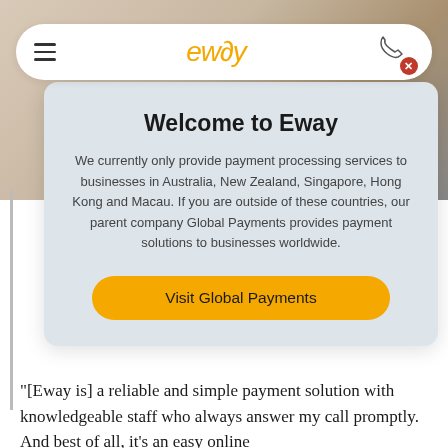[Figure (screenshot): Eway website screenshot showing navigation bar with hamburger menu, Eway logo in orange/yellow, and phone icon with red close button]
Welcome to Eway
We currently only provide payment processing services to businesses in Australia, New Zealand, Singapore, Hong Kong and Macau. If you are outside of these countries, our parent company Global Payments provides payment solutions to businesses worldwide.
Visit Global Payments
“[Eway is] a reliable and simple payment solution with knowledgeable staff who always answer my call promptly. And best of all, it’s an easy online